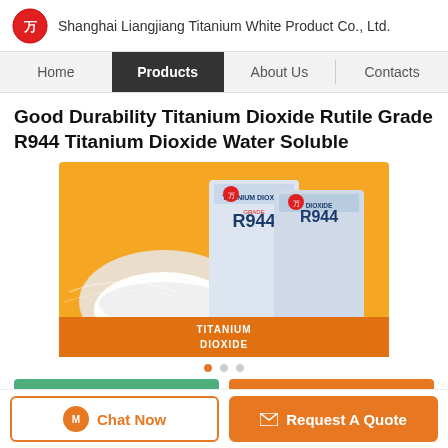Shanghai Liangjiang Titanium White Product Co., Ltd.
Home | Products | About Us | Contacts
Good Durability Titanium Dioxide Rutile Grade R944 Titanium Dioxide Water Soluble
[Figure (photo): Product photo showing two bags of Titanium Dioxide Rutile Grade R944 with a bowl of white powder in the foreground, on an orange background with text TITANIUM DIOXIDE]
Carousel navigation dots (3 dots, first active)
Get Best Price | Contact Us (partially visible buttons)
Chat Now | Request A Quote